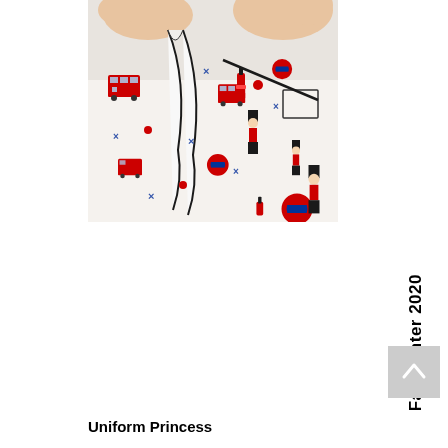[Figure (photo): Close-up photo of a person wearing a white blouse/shirt with London-themed print pattern (red double-decker buses, royal guards, London Underground roundels, nail polish bottles, blue X marks). The garment has a long bow/necktie scarf. Hands are visible adjusting the bow at the neckline.]
Fall/Winter 2020
Uniform Princess